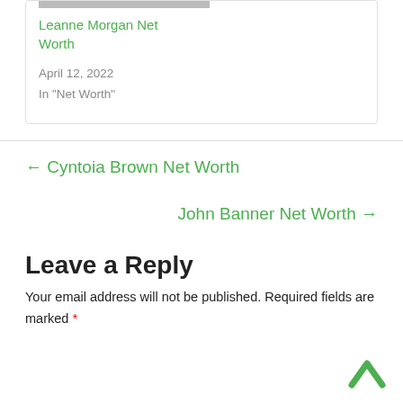[Figure (photo): Partial image of Leanne Morgan at top of card]
Leanne Morgan Net Worth
April 12, 2022
In "Net Worth"
← Cyntoia Brown Net Worth
John Banner Net Worth →
Leave a Reply
Your email address will not be published. Required fields are marked *